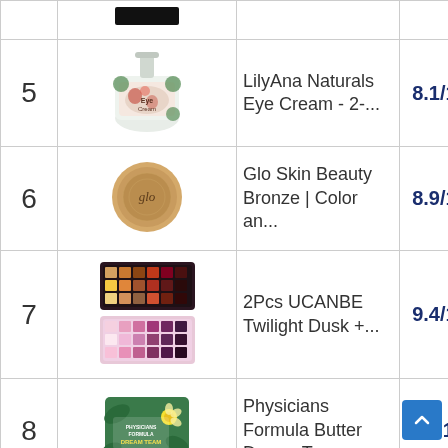| # | Image | Product | Score |
| --- | --- | --- | --- |
| 5 | [LilyAna Naturals Eye Cream image] | LilyAna Naturals Eye Cream - 2-... | 8.1/10 |
| 6 | [Glo Skin Beauty Bronze image] | Glo Skin Beauty Bronze | Color an... | 8.9/10 |
| 7 | [2Pcs UCANBE Twilight Dusk image] | 2Pcs UCANBE Twilight Dusk +... | 9.4/10 |
| 8 | [Physicians Formula Butter Dream Tea image] | Physicians Formula Butter Dream Tea... | 9.1/10 |